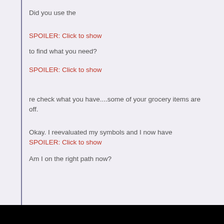Did you use the
SPOILER: Click to show
to find what you need?
SPOILER: Click to show
re check what you have....some of your grocery items are off.
Okay. I reevaluated my symbols and I now have SPOILER: Click to show
Am I on the right path now?